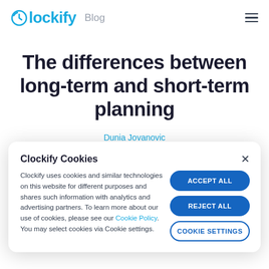Clockify Blog
The differences between long-term and short-term planning
Dunia Jovanovic
Clockify Cookies
Clockify uses cookies and similar technologies on this website for different purposes and shares such information with analytics and advertising partners. To learn more about our use of cookies, please see our Cookie Policy. You may select cookies via Cookie settings.
ACCEPT ALL
REJECT ALL
COOKIE SETTINGS